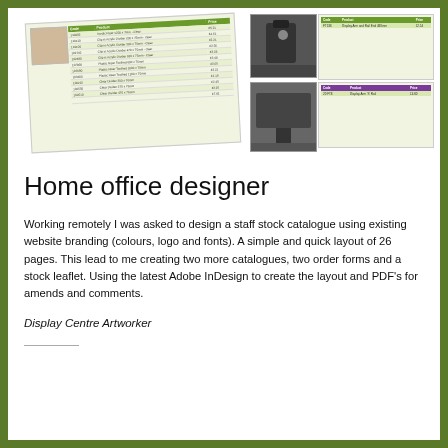[Figure (illustration): Composite image of catalogue pages showing product listings with green header tables, a photo of office products in top-left, a clip/hook hardware photo top-right with a product table, and a wall bracket photo bottom-right with a purple-header product table.]
Home office designer
Working remotely I was asked to design a staff stock catalogue using existing website branding (colours, logo and fonts). A simple and quick layout of 26 pages. This lead to me creating two more catalogues, two order forms and a stock leaflet. Using the latest Adobe InDesign to create the layout and PDF's for amends and comments.
Display Centre Artworker